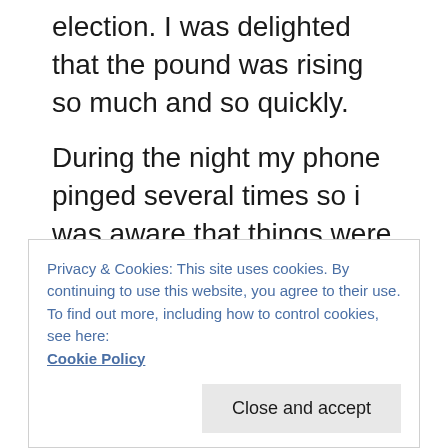election. I was delighted that the pound was rising so much and so quickly.
During the night my phone pinged several times so i was aware that things were developing in an unexpected way. My sleep was hugely disturbed.
I spent Friday on an island off Fort Desoto. It seemed the best thing with so much depression in the air over EU. In the evening the atmosphere at Charann's was subdued among some of my Irish friends. I had a great conversation with a couple of folk and then went home to pack.
Privacy & Cookies: This site uses cookies. By continuing to use this website, you agree to their use.
To find out more, including how to control cookies, see here:
Cookie Policy